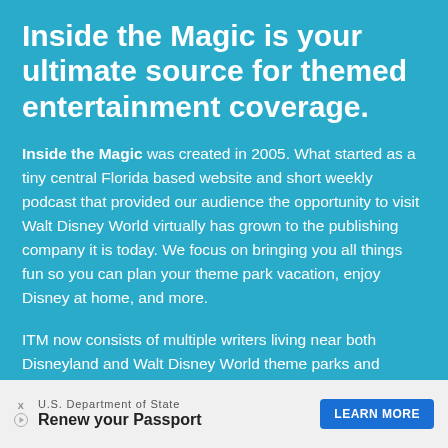Inside the Magic is your ultimate source for themed entertainment coverage.
Inside the Magic was created in 2005. What started as a tiny central Florida based website and short weekly podcast that provided our audience the opportunity to visit Walt Disney World virtually has grown to the publishing company it is today. We focus on bringing you all things fun so you can plan your theme park vacation, enjoy Disney at home, and more.
ITM now consists of multiple writers living near both Disneyland and Walt Disney World theme parks and around the world. This allows us to bring you the most interesting, entertaining, and unique entertainment experiences, from theme parks to movies to video games...
[Figure (other): Advertisement banner: U.S. Department of State — Renew your Passport — LEARN MORE button, with ad icons (X and play button)]